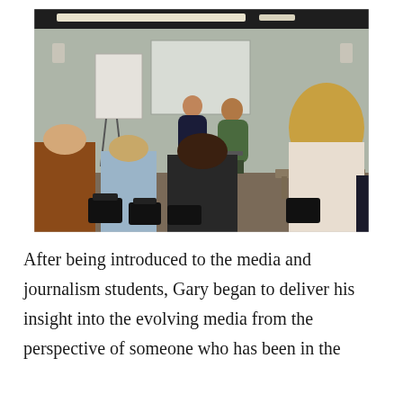[Figure (photo): A classroom or workshop setting where two people (speakers) are seated at the front facing an audience of students. The students are seen from behind. The room has a whiteboard and flipchart at the front, black ceiling with strip lighting, and grey-green walls.]
After being introduced to the media and journalism students, Gary began to deliver his insight into the evolving media from the perspective of someone who has been in the